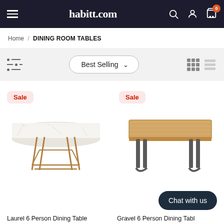habitt.com
Home / DINING ROOM TABLES
Best Selling
[Figure (screenshot): Laurel 6 Person Dining Table product card with Sale badge and white marble top table image]
[Figure (screenshot): Gravel 6 Person Dining Table product card with Sale badge and wood top table image]
Laurel 6 Person Dining Table
Gravel 6 Person Dining Table
Chat with us